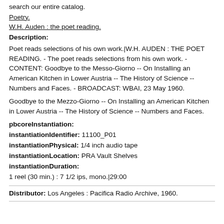search our entire catalog.
Poetry.
W.H. Auden : the poet reading.
Description:
Poet reads selections of his own work.|W.H. AUDEN : THE POET READING. - The poet reads selections from his own work. - CONTENT: Goodbye to the Messo-Giorno -- On Installing an American Kitchen in Lower Austria -- The History of Science -- Numbers and Faces. - BROADCAST: WBAI, 23 May 1960.
Goodbye to the Mezzo-Giorno -- On Installing an American Kitchen in Lower Austria -- The History of Science -- Numbers and Faces.
pbcoreInstantiation:
instantiationIdentifier: 11100_P01
instantiationPhysical: 1/4 inch audio tape
instantiationLocation: PRA Vault Shelves
instantiationDuration:
1 reel (30 min.) : 7 1/2 ips, mono.|29:00
Distributor: Los Angeles : Pacifica Radio Archive, 1960.